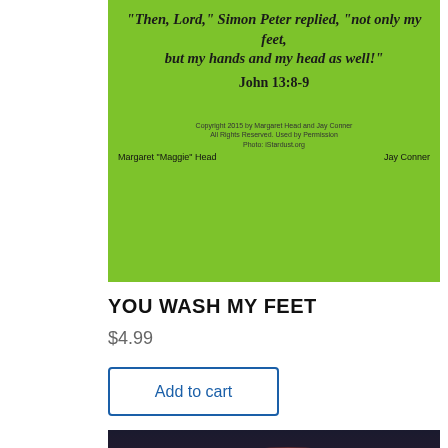[Figure (illustration): Green background card with italic Bible quote in bold: 'Then, Lord, Simon Peter replied, not only my feet, but my hands and my head as well!' and reference John 13:8-9, with copyright text and author names Margaret Maggie Head and Jay Conner]
YOU WASH MY FEET
$4.99
Add to cart
[Figure (illustration): Dark dramatic cloudy sky background card with number 1160 top right, title GOD'S WORKMANSHIP in white bold text, and italic Bible quote: For we are His workmanship, created in Christ Jesus for good works, which God prepared beforehand,]